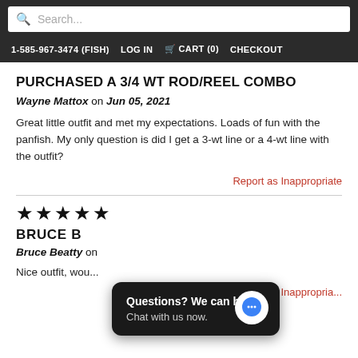Search... | 1-585-967-3474 (FISH) LOG IN CART (0) CHECKOUT
PURCHASED A 3/4 WT ROD/REEL COMBO
Wayne Mattox on Jun 05, 2021
Great little outfit and met my expectations. Loads of fun with the panfish. My only question is did I get a 3-wt line or a 4-wt line with the outfit?
Report as Inappropriate
[Figure (other): Five black star rating icons]
BRUCE B
Bruce Beatty on
Nice outfit, wou...
Report as Inappropriate
[Figure (other): Chat popup overlay: 'Questions? We can help. Chat with us now.' with blue chat bubble icon]